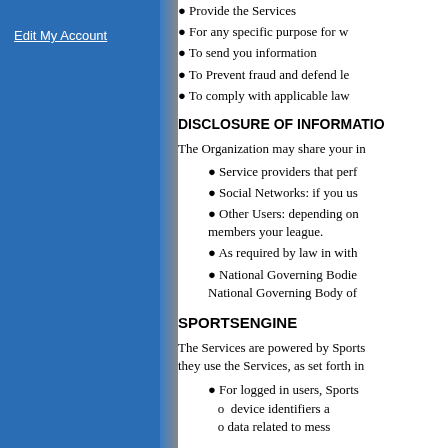Provide the Services
For any specific purpose for w
To send you information
To Prevent fraud and defend le
To comply with applicable law
DISCLOSURE OF INFORMATIO
The Organization may share your in
Service providers that perf
Social Networks: if you us
Other Users: depending on members your league.
As required by law in with
National Governing Bodie National Governing Body of
SPORTSENGINE
The Services are powered by Sports they use the Services, as set forth in
For logged in users, Sports o  device identifiers a o data related to mess